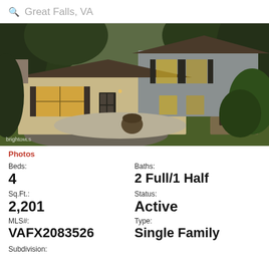Great Falls, VA
[Figure (photo): Exterior photo of a two-story split-level home with beige siding, dark shutters, illuminated windows, a patio area, and lush green trees surrounding the property. Brighton MLS watermark in lower left.]
Photos
Beds: 4
Baths: 2 Full/1 Half
Sq.Ft.: 2,201
Status: Active
MLS#: VAFX2083526
Type: Single Family
Subdivision: